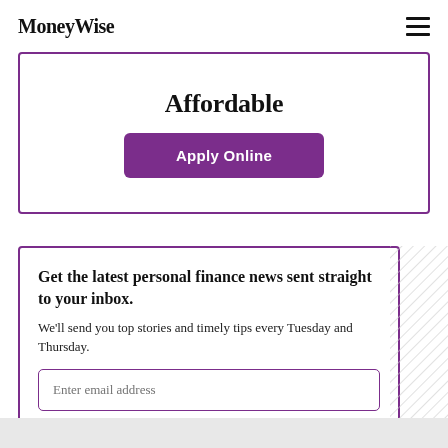MoneyWise
Affordable
Apply Online
Get the latest personal finance news sent straight to your inbox.
We’ll send you top stories and timely tips every Tuesday and Thursday.
Enter email address